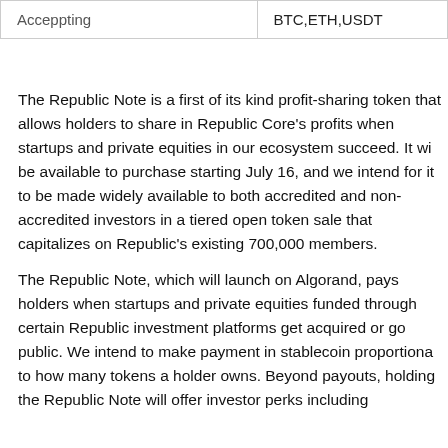| Acceppting | BTC,ETH,USDT |
The Republic Note is a first of its kind profit-sharing token that allows holders to share in Republic Core's profits when startups and private equities in our ecosystem succeed. It will be available to purchase starting July 16, and we intend for it to be made widely available to both accredited and non-accredited investors in a tiered open token sale that capitalizes on Republic's existing 700,000 members.
The Republic Note, which will launch on Algorand, pays holders when startups and private equities funded through certain Republic investment platforms get acquired or go public. We intend to make payment in stablecoin proportional to how many tokens a holder owns. Beyond payouts, holding the Republic Note will offer investor perks including